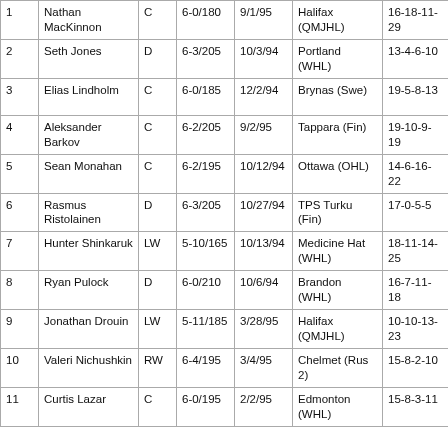| 1 | Nathan MacKinnon | C | 6-0/180 | 9/1/95 | Halifax (QMJHL) | 16-18-11-29 |
| 2 | Seth Jones | D | 6-3/205 | 10/3/94 | Portland (WHL) | 13-4-6-10 |
| 3 | Elias Lindholm | C | 6-0/185 | 12/2/94 | Brynas (Swe) | 19-5-8-13 |
| 4 | Aleksander Barkov | C | 6-2/205 | 9/2/95 | Tappara (Fin) | 19-10-9-19 |
| 5 | Sean Monahan | C | 6-2/195 | 10/12/94 | Ottawa (OHL) | 14-6-16-22 |
| 6 | Rasmus Ristolainen | D | 6-3/205 | 10/27/94 | TPS Turku (Fin) | 17-0-5-5 |
| 7 | Hunter Shinkaruk | LW | 5-10/165 | 10/13/94 | Medicine Hat (WHL) | 18-11-14-25 |
| 8 | Ryan Pulock | D | 6-0/210 | 10/6/94 | Brandon (WHL) | 16-7-11-18 |
| 9 | Jonathan Drouin | LW | 5-11/185 | 3/28/95 | Halifax (QMJHL) | 10-10-13-23 |
| 10 | Valeri Nichushkin | RW | 6-4/195 | 3/4/95 | Chelmet (Rus 2) | 15-8-2-10 |
| 11 | Curtis Lazar | C | 6-0/195 | 2/2/95 | Edmonton (WHL) | 15-8-3-11 |